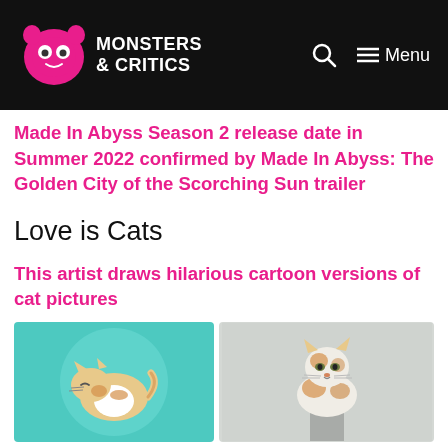Monsters & Critics — Navigation header with logo, search icon, and Menu
Made In Abyss Season 2 release date in Summer 2022 confirmed by Made In Abyss: The Golden City of the Scorching Sun trailer
Love is Cats
This artist draws hilarious cartoon versions of cat pictures
[Figure (illustration): Two side-by-side images: left shows a cartoon illustration of a sleeping orange and white cat on a teal/mint circular background; right shows a real photo of a white and orange cat sitting on a post against a grey sky.]